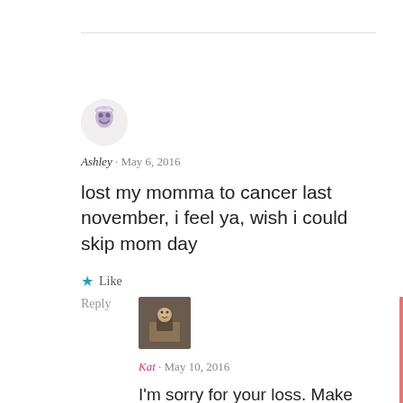Ashley · May 6, 2016
lost my momma to cancer last november, i feel ya, wish i could skip mom day
Like
Reply
Kat · May 10, 2016
I'm sorry for your loss. Make sure you